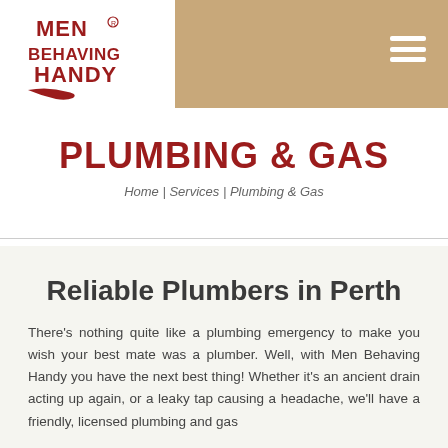[Figure (logo): Men Behaving Handy logo — red text on white background with a hand/tool graphic]
PLUMBING & GAS
Home | Services | Plumbing & Gas
Reliable Plumbers in Perth
There's nothing quite like a plumbing emergency to make you wish your best mate was a plumber. Well, with Men Behaving Handy you have the next best thing! Whether it's an ancient drain acting up again, or a leaky tap causing a headache, we'll have a friendly, licensed plumbing and gas